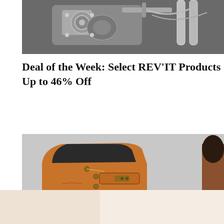[Figure (photo): Close-up of a motorcycle engine and front fork, black and white chrome details]
Deal of the Week: Select REV'IT Products Up to 46% Off
[Figure (photo): Close-up of a tan leather motorcycle boot with black lining, gold eyelets, and a buckle strap]
[Figure (photo): Advertisement banner with light peach/beige background and a close button (X)]